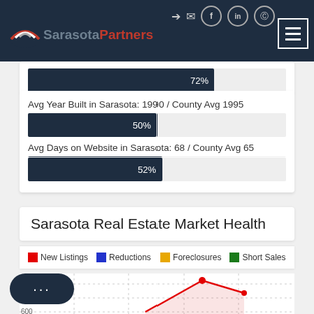Partners (real estate website navigation bar with logo)
[Figure (other): Horizontal progress bar showing 72%]
Avg Year Built in Sarasota: 1990 / County Avg 1995
[Figure (bar-chart): Avg Year Built in Sarasota: 1990 / County Avg 1995]
Avg Days on Website in Sarasota: 68 / County Avg 65
[Figure (bar-chart): Avg Days on Website in Sarasota: 68 / County Avg 65]
Sarasota Real Estate Market Health
New Listings  Reductions  Foreclosures  Short Sales
[Figure (line-chart): Partial line chart showing real estate market health with colored lines for New Listings, Reductions, Foreclosures, Short Sales. Y-axis shows value 600 visible at bottom.]